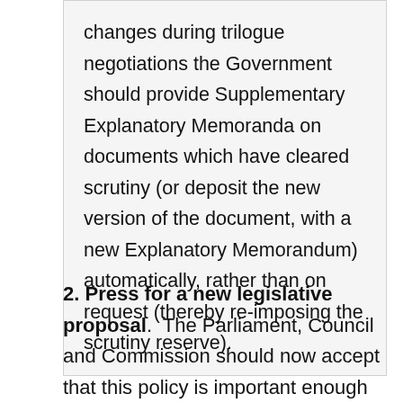changes during trilogue negotiations the Government should provide Supplementary Explanatory Memoranda on documents which have cleared scrutiny (or deposit the new version of the document, with a new Explanatory Memorandum) automatically, rather than on request (thereby re-imposing the scrutiny reserve).
2. Press for a new legislative proposal. The Parliament, Council and Commission should now accept that this policy is important enough to get right, and that they need to give it significant attention. The Commission should now develop a new legislative proposal to introduce in the next session after the May 2014 election – that would